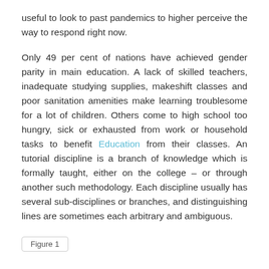useful to look to past pandemics to higher perceive the way to respond right now.
Only 49 per cent of nations have achieved gender parity in main education. A lack of skilled teachers, inadequate studying supplies, makeshift classes and poor sanitation amenities make learning troublesome for a lot of children. Others come to high school too hungry, sick or exhausted from work or household tasks to benefit Education from their classes. An tutorial discipline is a branch of knowledge which is formally taught, either on the college – or through another such methodology. Each discipline usually has several sub-disciplines or branches, and distinguishing lines are sometimes each arbitrary and ambiguous.